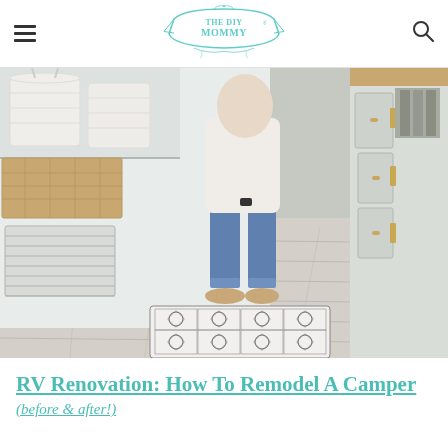THE DIY MOMMY
[Figure (photo): Woman sitting in a renovated RV interior with storage cubbies, baskets, wood-look flooring and a decorative patterned rug at the entrance door step]
RV Renovation: How To Remodel A Camper (before & after!)